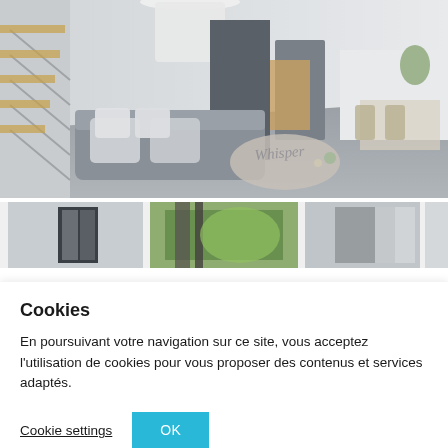[Figure (photo): Interior photo of a modern open-plan living room with a grey sectional sofa, white pendant light, staircase on the left, and dining area in the background. A watermark reading 'Whisper' is visible on a coffee table area.]
[Figure (photo): Row of three thumbnail images showing: (1) a modern door/entryway in grey tones, (2) a green outdoor/garden view through a window, (3) a grey roller blind or shade interior view, and a partial fourth thumbnail.]
Cookies
En poursuivant votre navigation sur ce site, vous acceptez l'utilisation de cookies pour vous proposer des contenus et services adaptés.
Cookie settings
OK